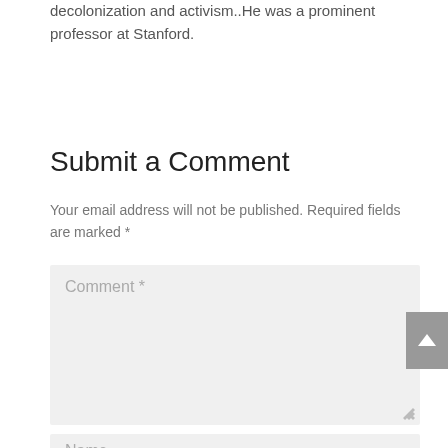decolonization and activism..He was a prominent professor at Stanford.
Submit a Comment
Your email address will not be published. Required fields are marked *
Comment *
Name